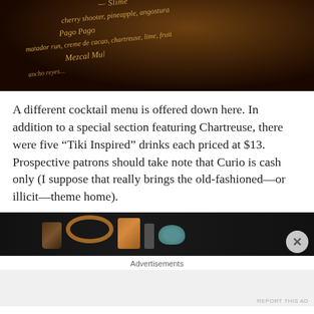[Figure (photo): Dark overhead photo of a cocktail menu with italic text visible showing drink names including 'Pago Pago' and 'Mezcal Mu...' on warm amber-lit paper against a dark background.]
A different cocktail menu is offered down here. In addition to a special section featuring Chartreuse, there were five “Tiki Inspired” drinks each priced at $13. Prospective patrons should take note that Curio is cash only (I suppose that really brings the old-fashioned—or illicit—theme home).
[Figure (photo): Dark photo showing copper cocktail cups/rings and a teal garnish on a dark surface.]
Advertisements
REPORT THIS AD